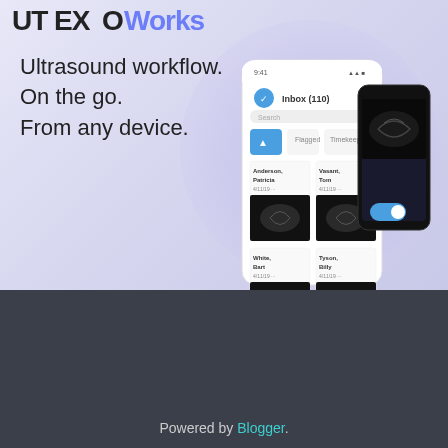[Figure (screenshot): ExoWorks app advertisement banner showing ultrasound workflow mobile app with phone mockups displaying patient inbox with ultrasound images]
Ultrasound workflow.
On the go.
From any device.
LEARN MORE
SkyJack Morgan
[Figure (logo): Blogger orange square icon with B logo]
View my complete profile
Powered by Blogger.